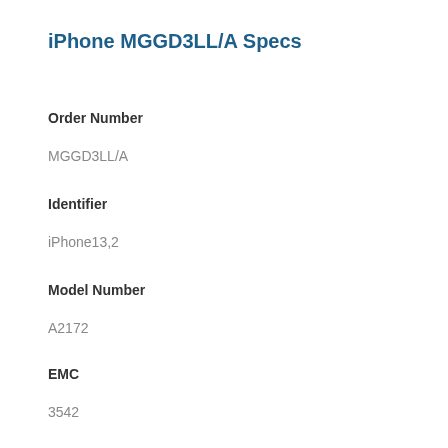iPhone MGGD3LL/A Specs
Order Number
MGGD3LL/A
Identifier
iPhone13,2
Model Number
A2172
EMC
3542
Model
iPhone 12
Storage Capacity